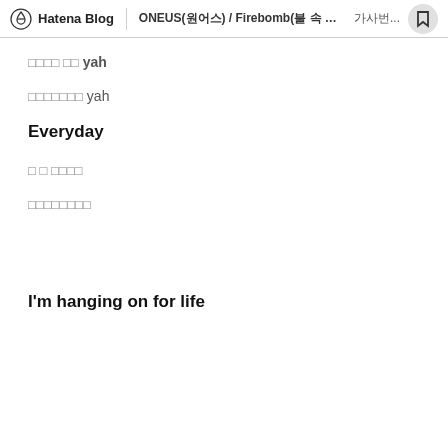Hatena Blog | ONEUS(원어스) / Firebomb(불 속 으로) 가사번역...
□□□□ □□ yah
□□□□□□□ yah
Everyday
□ □ □□□□
□□□□□□□□
I'm hanging on for life